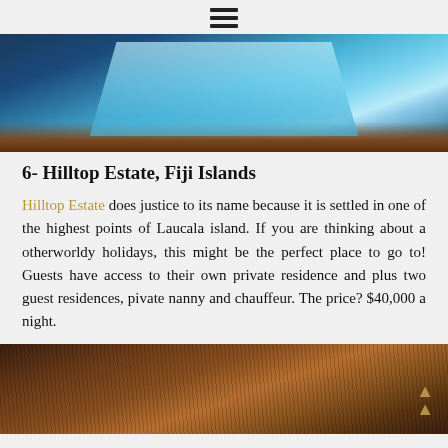≡
[Figure (photo): Top-down or angled view of a luxury infinity pool with blue water and wooden frame surroundings, illuminated with light.]
6- Hilltop Estate, Fiji Islands
Hilltop Estate does justice to its name because it is settled in one of the highest points of Laucala island. If you are thinking about a otherworldy holidays, this might be the perfect place to go to! Guests have access to their own private residence and plus two guest residences, pivate nanny and chauffeur. The price? $40,000 a night.
[Figure (photo): Interior view of a luxury thatched-roof villa with warm amber lighting and intricate wooden ceiling details.]